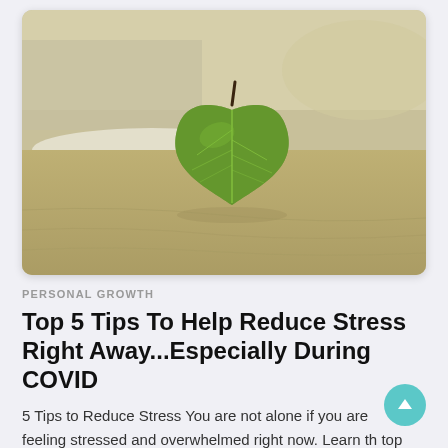[Figure (photo): A heart-shaped green leaf with visible veins resting on sandy beach with ocean wave in background. Sepia/muted tone photograph.]
PERSONAL GROWTH
Top 5 Tips To Help Reduce Stress Right Away...Especially During COVID
5 Tips to Reduce Stress You are not alone if you are feeling stressed and overwhelmed right now. Learn the top 5 tips to help reduce stress right now. Stress ...